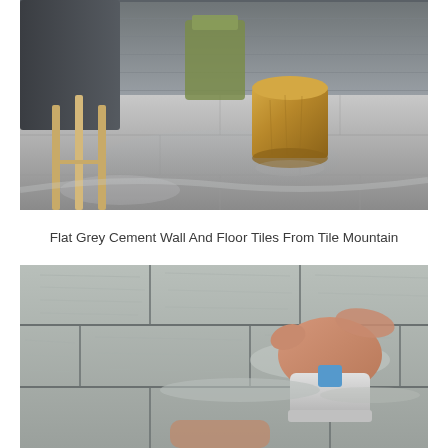[Figure (photo): Interior room with glossy large-format grey cement floor tiles, a wooden stump side table, light wood stool legs, and dark grey wall panels in the background.]
Flat Grey Cement Wall And Floor Tiles From Tile Mountain
[Figure (photo): Close-up of a hand using a grouting float/rubber grout spreader on grey wood-effect floor tiles, applying grout into the joints.]